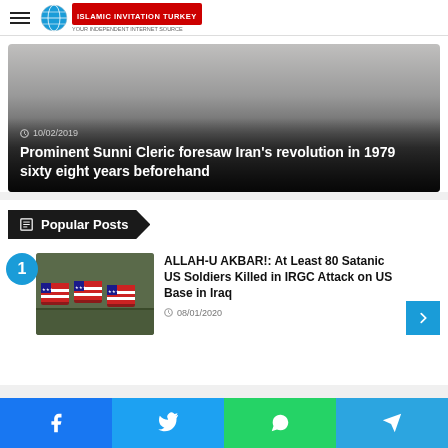Islamic Invitation Turkey
[Figure (screenshot): Featured article card with dark gradient overlay showing article dated 10/02/2019 titled: Prominent Sunni Cleric foresaw Iran's revolution in 1979 sixty eight years beforehand]
Popular Posts
[Figure (photo): Thumbnail image of coffins draped with American flags]
ALLAH-U AKBAR!: At Least 80 Satanic US Soldiers Killed in IRGC Attack on US Base in Iraq
08/01/2020